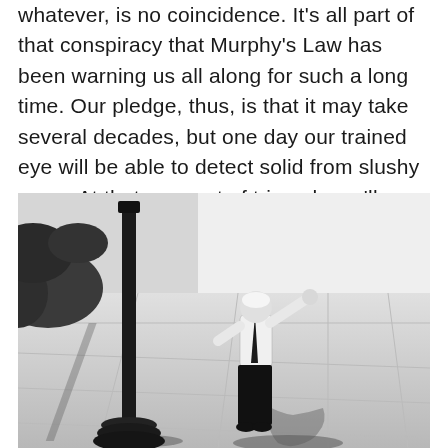whatever, is no coincidence. It's all part of that conspiracy that Murphy's Law has been warning us all along for such a long time. Our pledge, thus, is that it may take several decades, but one day our trained eye will be able to detect solid from slushy snow. At that moment of triumph, we'll probably completely lose our minds.
[Figure (photo): Black and white photograph of an elderly person with white hair, wearing a white shirt and black tie and black trousers, standing on a paved outdoor area next to a large ornate black lamp post, with one arm raised. Strong shadows are visible on the pavement.]